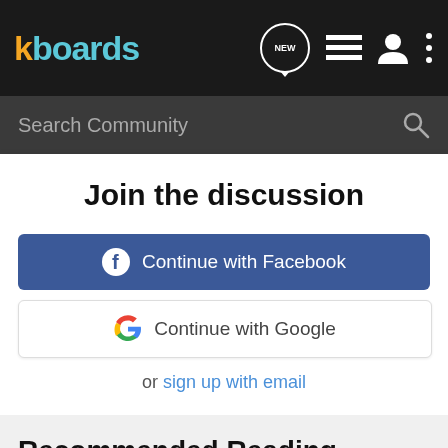kboards — navigation bar with NEW bubble, list icon, profile icon, menu icon
Search Community
Join the discussion
Continue with Facebook
Continue with Google
or sign up with email
Recommended Reading
Amazon Cloud Drive
Writers' Cafe